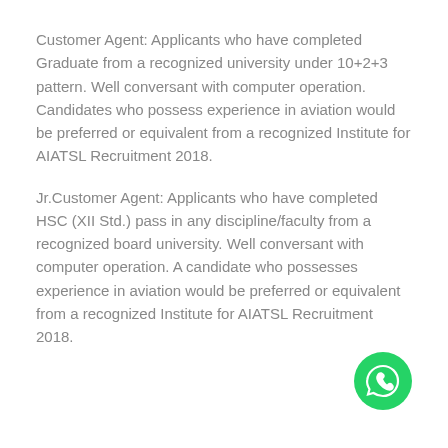Customer Agent: Applicants who have completed Graduate from a recognized university under 10+2+3 pattern. Well conversant with computer operation. Candidates who possess experience in aviation would be preferred or equivalent from a recognized Institute for AIATSL Recruitment 2018.
Jr.Customer Agent: Applicants who have completed HSC (XII Std.) pass in any discipline/faculty from a recognized board university. Well conversant with computer operation. A candidate who possesses experience in aviation would be preferred or equivalent from a recognized Institute for AIATSL Recruitment 2018.
[Figure (illustration): WhatsApp round green button icon with phone/chat symbol]